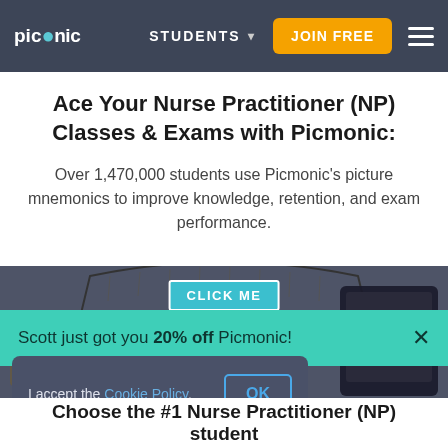picmonic | STUDENTS ▾ | JOIN FREE | ☰
Ace Your Nurse Practitioner (NP) Classes & Exams with Picmonic:
Over 1,470,000 students use Picmonic's picture mnemonics to improve knowledge, retention, and exam performance.
[Figure (screenshot): Picmonic interactive learning screenshot with a CLICK ME button overlay and decorative banner]
Scott just got you 20% off Picmonic!
I accept the Cookie Policy.
Choose the #1 Nurse Practitioner (NP) student